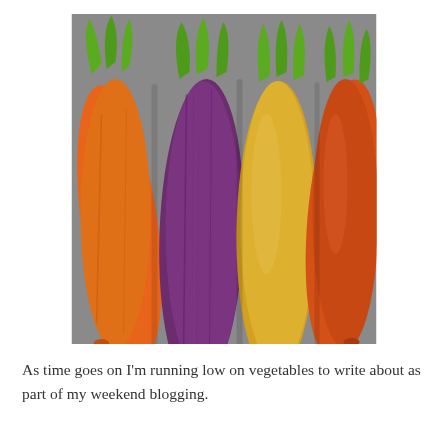[Figure (photo): A bunch of four carrots of different colors — orange, purple, yellow, and orange-red — with green leafy tops, arranged side by side on a gray background.]
As time goes on I'm running low on vegetables to write about as part of my weekend blogging.